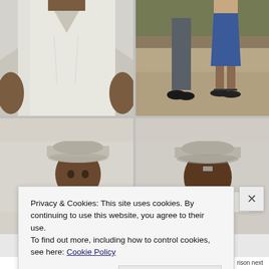[Figure (photo): Close-up of a person's torso wearing a white v-neck t-shirt, arms at sides, dark skin, against plain background.]
[Figure (photo): Two people standing outdoors on sandy/dirt ground. Person on left in dark grey pants and black dress shoes. Person on right wearing blue jeans skirt and black sandals. Trees in background.]
[Figure (photo): Person wearing a light-colored bucket hat facing left/front angle, wearing white top, against plain light background.]
[Figure (photo): Person wearing a light-colored bucket hat viewed from the back, wearing white top, against plain light background.]
Privacy & Cookies: This site uses cookies. By continuing to use this website, you agree to their use.
To find out more, including how to control cookies, see here: Cookie Policy
Close and accept